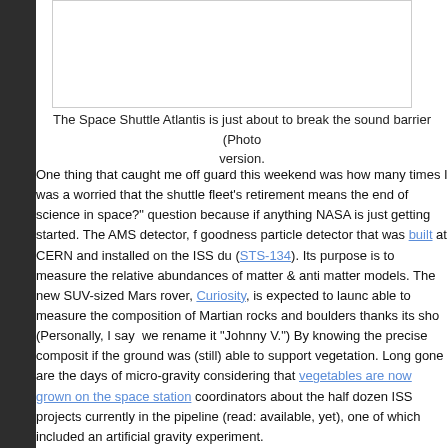[Figure (photo): Photo of Space Shuttle Atlantis just about to break the sound barrier]
The Space Shuttle Atlantis is just about to break the sound barrier (Photo version.
One thing that caught me off guard this weekend was how many times I was a worried that the shuttle fleet’s retirement means the end of science in space?” question because if anything NASA is just getting started. The AMS detector, f goodness particle detector that was built at CERN and installed on the ISS du (STS-134). Its purpose is to measure the relative abundances of matter & anti matter models. The new SUV-sized Mars rover, Curiosity, is expected to launc able to measure the composition of Martian rocks and boulders thanks its sho (Personally, I say we rename it “Johnny V.”) By knowing the precise composit if the ground was (still) able to support vegetation. Long gone are the days of micro-gravity considering that vegetables are now grown on the space station coordinators about the half dozen ISS projects currently in the pipeline (read: available, yet), one of which included an artificial gravity experiment.
NASA is getting out of the ferrying business, so what? Consider this: these are couple of humans on the moon because some guy dared them††. After that, th SPACE STATION! With